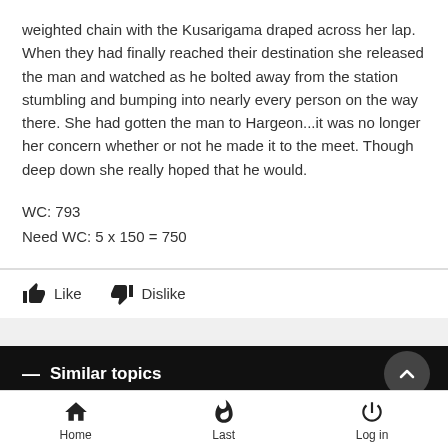weighted chain with the Kusarigama draped across her lap. When they had finally reached their destination she released the man and watched as he bolted away from the station stumbling and bumping into nearly every person on the way there. She had gotten the man to Hargeon...it was no longer her concern whether or not he made it to the meet. Though deep down she really hoped that he would.
WC: 793
Need WC: 5 x 150 = 750
Similar topics
Escort on a Train~Solo Job
Home  Last  Log in